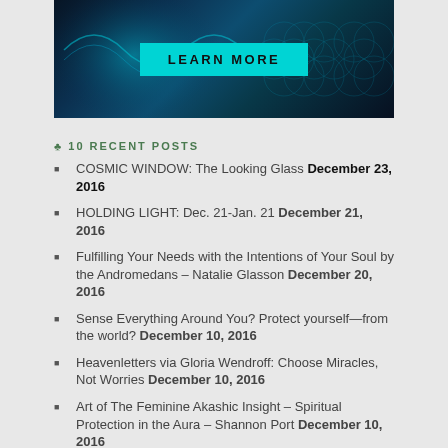[Figure (illustration): Dark teal banner image with geometric sacred geometry pattern and glowing light effects, containing a cyan 'LEARN MORE' button in the center]
♣ 10 RECENT POSTS
COSMIC WINDOW: The Looking Glass December 23, 2016
HOLDING LIGHT: Dec. 21-Jan. 21 December 21, 2016
Fulfilling Your Needs with the Intentions of Your Soul by the Andromedans – Natalie Glasson December 20, 2016
Sense Everything Around You? Protect yourself—from the world? December 10, 2016
Heavenletters via Gloria Wendroff: Choose Miracles, Not Worries December 10, 2016
Art of The Feminine Akashic Insight – Spiritual Protection in the Aura – Shannon Port December 10, 2016
Why Are Angels Here, Now in Greater Numbers? December 9, 2016
Angels Message to Us December 9, 2016